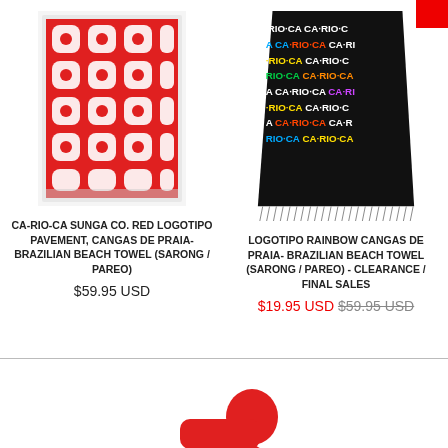[Figure (photo): CA-RIO-CA red logotipo pavement beach towel with red and white geometric hexagon pattern]
CA-RIO-CA SUNGA CO. RED LOGOTIPO PAVEMENT, CANGAS DE PRAIA- BRAZILIAN BEACH TOWEL (SARONG / PAREO)
$59.95 USD
[Figure (photo): Black beach towel/sarong with multicolor CA-RIO-CA text repeated in rainbow colors, with fringe at bottom, red sale badge corner]
LOGOTIPO RAINBOW CANGAS DE PRAIA- BRAZILIAN BEACH TOWEL (SARONG / PAREO) - CLEARANCE / FINAL SALES
$19.95 USD $59.95 USD
[Figure (photo): Partial red silhouette/figure visible at bottom of page below divider line]